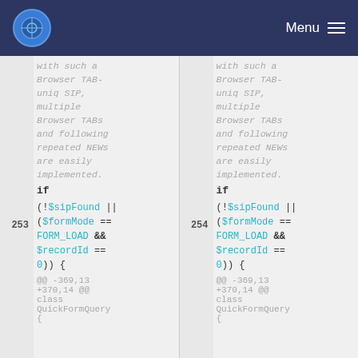Menu
with such a Browser TAB-uniq SIP, multiple Browser TABs and following repeated NEWs are easily implemented.
253  if (!$sipFound || ($formMode == FORM_LOAD && $recordId == 0)) {
254  if (!$sipFound || ($formMode == FORM_LOAD && $recordId == 0)) {
...  @@ -369,13 +370,14 @@ class QuickFormQuery {
...  @@ -369,13 +370,14 @@ class QuickFormQuery {